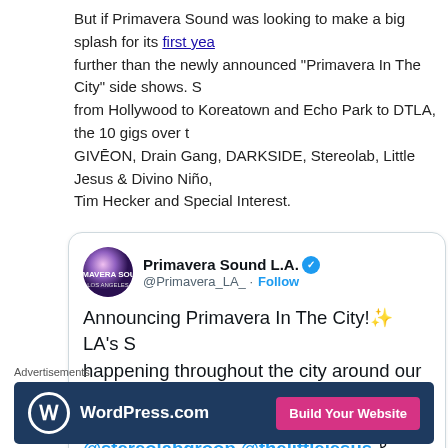But if Primavera Sound was looking to make a big splash for its first year further than the newly announced "Primavera In The City" side shows. Stretching from Hollywood to Koreatown and Echo Park to DTLA, the 10 gigs over the GIVĒON, Drain Gang, DARKSIDE, Stereolab, Little Jesus & Divino Niño, Tim Hecker and Special Interest.
[Figure (screenshot): Embedded tweet from @Primavera_LA_ announcing Primavera In The City with artists @Giveon @DarksideUSA @stereolabgroop @thelittlejesus & @Divin and more, with link bit.ly/3Ov0Y3y and Primavera Sound banner images at bottom.]
Advertisements
[Figure (screenshot): WordPress.com advertisement banner with Build Your Website button on dark navy background.]